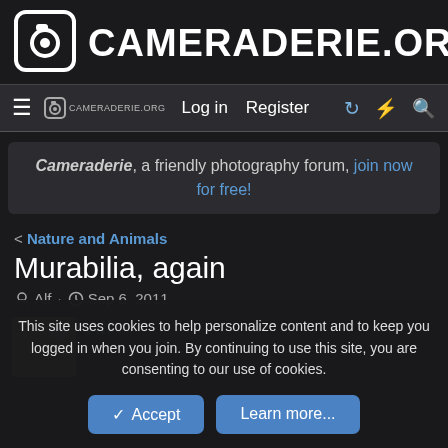CAMERADERIE.ORG
Log in  Register
Cameraderie, a friendly photography forum, join now for free!
< Nature and Animals
Murabilia, again
Alf · Sep 6, 2011
Alf
This site uses cookies to help personalize content and to keep you logged in when you join. By continuing to use this site, you are consenting to our use of cookies.